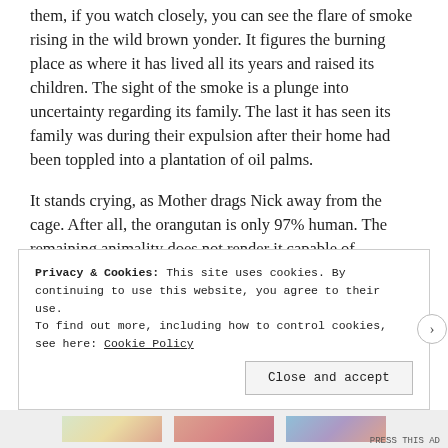them, if you watch closely, you can see the flare of smoke rising in the wild brown yonder. It figures the burning place as where it has lived all its years and raised its children. The sight of the smoke is a plunge into uncertainty regarding its family. The last it has seen its family was during their expulsion after their home had been toppled into a plantation of oil palms.
It stands crying, as Mother drags Nick away from the cage. After all, the orangutan is only 97% human. The remaining animality does not render it capable of inflicting the kind of harm natural only to humans.
Privacy & Cookies: This site uses cookies. By continuing to use this website, you agree to their use.
To find out more, including how to control cookies, see here: Cookie Policy
Close and accept